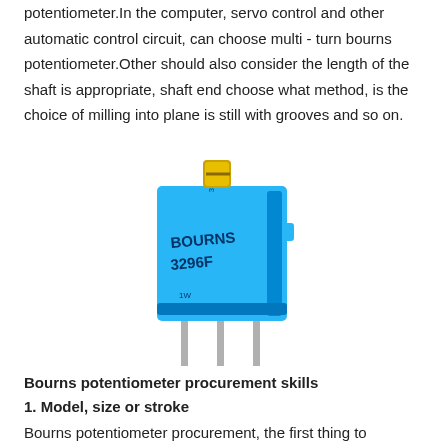potentiometer.In the computer, servo control and other automatic control circuit, can choose multi - turn bourns potentiometer.Other should also consider the length of the shaft is appropriate, shaft end choose what method, is the choice of milling into plane is still with grooves and so on.
[Figure (photo): A blue Bourns 3296F trimmer potentiometer with gold adjustment screw on top and three metal pins at the bottom.]
Bourns potentiometer procurement skills
1. Model, size or stroke
Bourns potentiometer procurement, the first thing to understand is